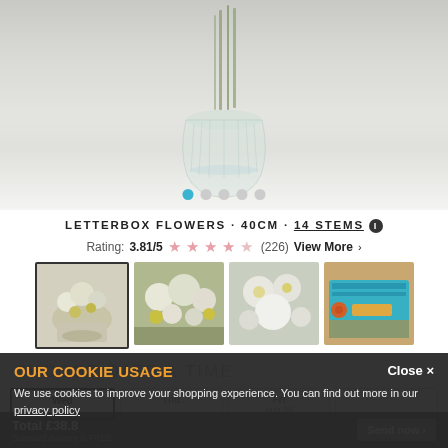[Figure (photo): Hero image of a glass vase with green stems on a white table, light gray background. Carousel dots below with first dot active (blue).]
LETTERBOX FLOWERS · 40CM · 14 STEMS ℹ
Rating: 3.81/5 ★★★★☆ (226) View More ›
[Figure (photo): Thumbnail 1 (selected): White and yellow flowers in a glass vase on a white surface.]
[Figure (photo): Thumbnail 2: Close-up of white and yellow flower blooms with green leaves.]
[Figure (photo): Thumbnail 3: White flowers including pom-pom and daisy types with yellow accents.]
[Figure (photo): Thumbnail 4: Teal letterbox packaging box with flowers and ribbon.]
CHOOSE DATE & TIME
Wed | Thu | Fri Aug 26 | [date box]
OUR COOKIE USAGE
We use cookies to improve your shopping experience. You can find out more in our privacy policy
Total £38.8 · Standard delivery is FREE · Send now